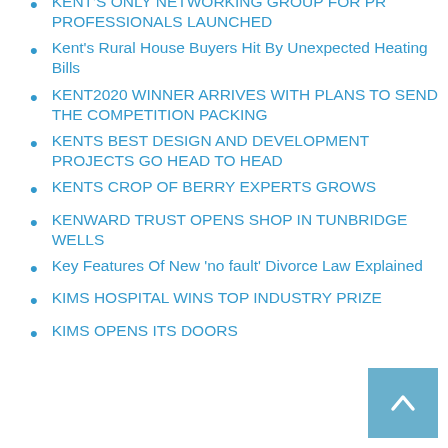KENT'S ONLY NETWORKING GROUP FOR PR PROFESSIONALS LAUNCHED
Kent's Rural House Buyers Hit By Unexpected Heating Bills
KENT2020 WINNER ARRIVES WITH PLANS TO SEND THE COMPETITION PACKING
KENTS BEST DESIGN AND DEVELOPMENT PROJECTS GO HEAD TO HEAD
KENTS CROP OF BERRY EXPERTS GROWS
KENWARD TRUST OPENS SHOP IN TUNBRIDGE WELLS
Key Features Of New 'no fault' Divorce Law Explained
KIMS HOSPITAL WINS TOP INDUSTRY PRIZE
KIMS OPENS ITS DOORS